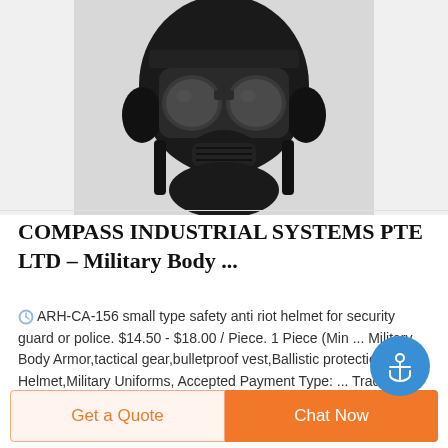[Figure (photo): Close-up photo of a black military gas mask / full-face riot helmet, showing visor lenses and respirator grill, photographed from the front against a light background]
COMPASS INDUSTRIAL SYSTEMS PTE LTD – Military Body ...
ARH-CA-156 small type safety anti riot helmet for security guard or police. $14.50 - $18.00 / Piece. 1 Piece (Min ... Military Body Armor,tactical gear,bulletproof vest,Ballistic protection Helmet,Military Uniforms, Accepted Payment Type: ... Trade Capability. Export Experience: 22 years. Trade Staff: 21-50 People. Export Percentage: 81% - 90% ...
Get a Quote
Chat Now